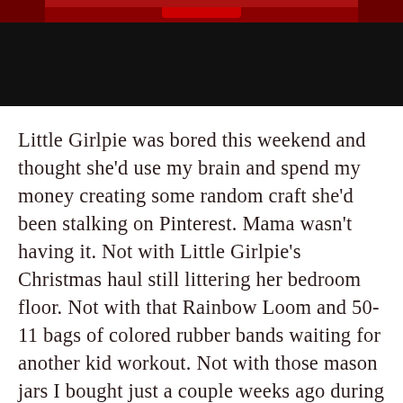[Figure (photo): Partial photo at top of page showing a dark/black background with red elements visible at the top edge, appearing to be a cropped bottom portion of a photograph.]
Little Girlpie was bored this weekend and thought she'd use my brain and spend my money creating some random craft she'd been stalking on Pinterest. Mama wasn't having it. Not with Little Girlpie's Christmas haul still littering her bedroom floor. Not with that Rainbow Loom and 50-11 bags of colored rubber bands waiting for another kid workout. Not with those mason jars I bought just a couple weeks ago during a "Please, Mommy, Please"